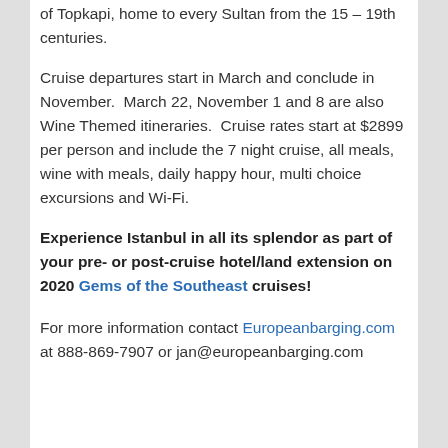of Topkapi, home to every Sultan from the 15 – 19th centuries.
Cruise departures start in March and conclude in November.  March 22, November 1 and 8 are also Wine Themed itineraries.  Cruise rates start at $2899 per person and include the 7 night cruise, all meals, wine with meals, daily happy hour, multi choice excursions and Wi-Fi.
Experience Istanbul in all its splendor as part of your pre- or post-cruise hotel/land extension on 2020 Gems of the Southeast cruises!
For more information contact Europeanbarging.com at 888-869-7907 or jan@europeanbarging.com
Posted in AmaWaterways, Press releases | Tagged Amawaterways, Danube Cruise, Danube River Cruise, europe river cruises, Istanbul land tour, River Cruises